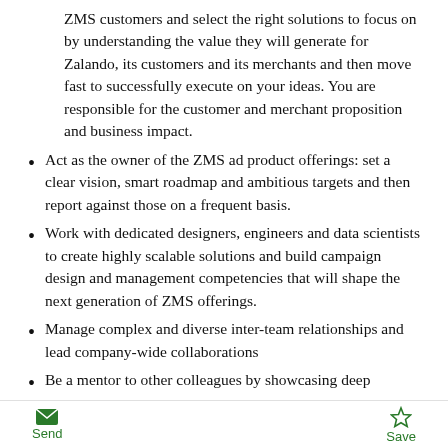ZMS customers and select the right solutions to focus on by understanding the value they will generate for Zalando, its customers and its merchants and then move fast to successfully execute on your ideas. You are responsible for the customer and merchant proposition and business impact.
Act as the owner of the ZMS ad product offerings: set a clear vision, smart roadmap and ambitious targets and then report against those on a frequent basis.
Work with dedicated designers, engineers and data scientists to create highly scalable solutions and build campaign design and management competencies that will shape the next generation of ZMS offerings.
Manage complex and diverse inter-team relationships and lead company-wide collaborations
Be a mentor to other colleagues by showcasing deep
Send  Save